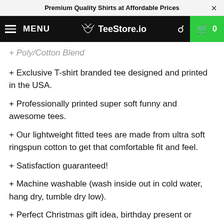Premium Quality Shirts at Affordable Prices
MENU  TeeStore.io  0
+ Poly/Cotton Blend
+ Exclusive T-shirt branded tee designed and printed in the USA.
+ Professionally printed super soft funny and awesome tees.
+ Our lightweight fitted tees are made from ultra soft ringspun cotton to get that comfortable fit and feel.
+ Satisfaction guaranteed!
+ Machine washable (wash inside out in cold water, hang dry, tumble dry low).
+ Perfect Christmas gift idea, birthday present or treating yourself to the best